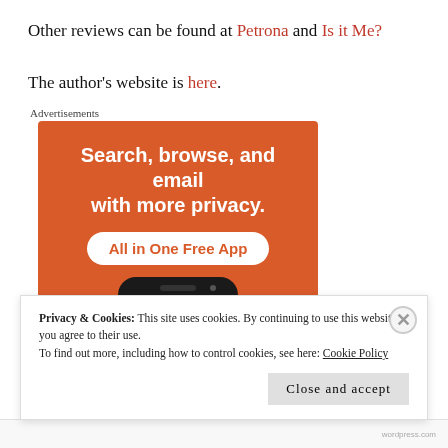Other reviews can be found at Petrona and Is it Me?
The author's website is here.
[Figure (screenshot): Advertisement banner with orange background showing text 'Search, browse, and email with more privacy. All in One Free App' with a phone graphic below]
Privacy & Cookies: This site uses cookies. By continuing to use this website, you agree to their use. To find out more, including how to control cookies, see here: Cookie Policy